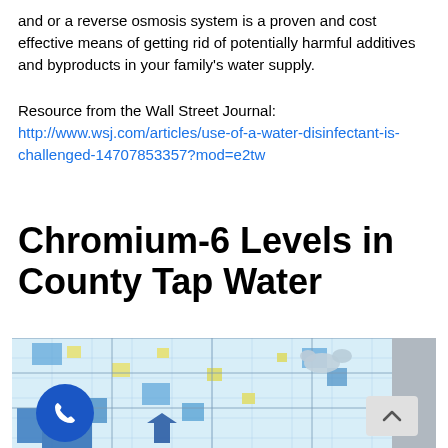and or a reverse osmosis system is a proven and cost effective means of getting rid of potentially harmful additives and byproducts in your family's water supply.
Resource from the Wall Street Journal: http://www.wsj.com/articles/use-of-a-water-disinfectant-is-challenged-14707853572?mod=e2tw
Chromium-6 Levels in County Tap Water
[Figure (map): Map of the United States showing Chromium-6 levels in county tap water. Counties are shaded in varying shades of blue and yellow, with most counties shown in light blue. A phone call button icon and a scroll-up button are overlaid on the map.]